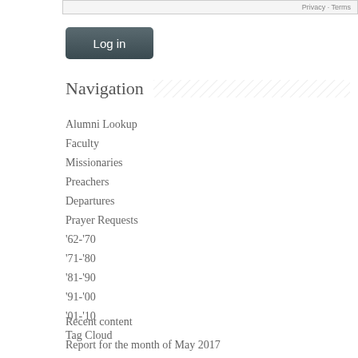[Figure (screenshot): Top bar with Privacy and Terms links]
[Figure (screenshot): Log in button with dark gray rounded rectangle style]
Navigation
Alumni Lookup
Faculty
Missionaries
Preachers
Departures
Prayer Requests
'62-'70
'71-'80
'81-'90
'91-'00
'01-'10
Tag Cloud
Recent content
Report for the month of May 2017